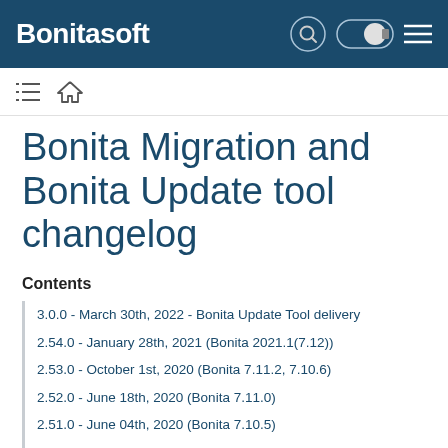Bonitasoft
Bonita Migration and Bonita Update tool changelog
Contents
3.0.0 - March 30th, 2022 - Bonita Update Tool delivery
2.54.0 - January 28th, 2021 (Bonita 2021.1(7.12))
2.53.0 - October 1st, 2020 (Bonita 7.11.2, 7.10.6)
2.52.0 - June 18th, 2020 (Bonita 7.11.0)
2.51.0 - June 04th, 2020 (Bonita 7.10.5)
2.50.0 - April 02nd, 2020 (Bonita 7.10.4)
2.49.0 - March 06th, 2020 (Bonita 7.10.3)